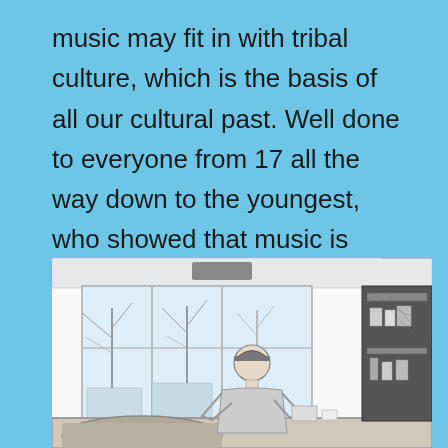music may fit in with tribal culture, which is the basis of all our cultural past. Well done to everyone from 17 all the way down to the youngest, who showed that music is valuable, as a mechanism of bringing us together. There is much more to it of course and I look forward to sharing it with you in the coming weeks.
[Figure (illustration): A pencil sketch illustration of a person sitting at a desk or counter inside a room with large windows. Outside the windows, bare trees are visible. On the right side there is a dark shelving unit. The scene appears to be a classroom or diner interior.]